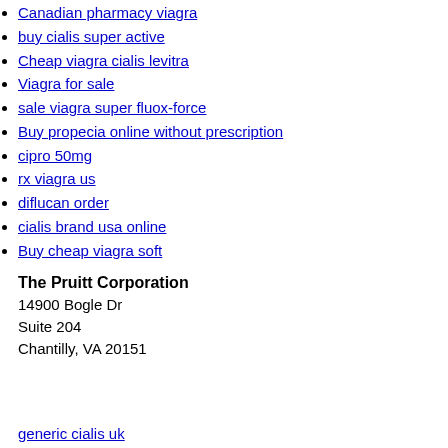Canadian pharmacy viagra
buy cialis super active
Cheap viagra cialis levitra
Viagra for sale
sale viagra super fluox-force
Buy propecia online without prescription
cipro 50mg
rx viagra us
diflucan order
cialis brand usa online
Buy cheap viagra soft
The Pruitt Corporation
14900 Bogle Dr
Suite 204
Chantilly, VA 20151
generic cialis uk